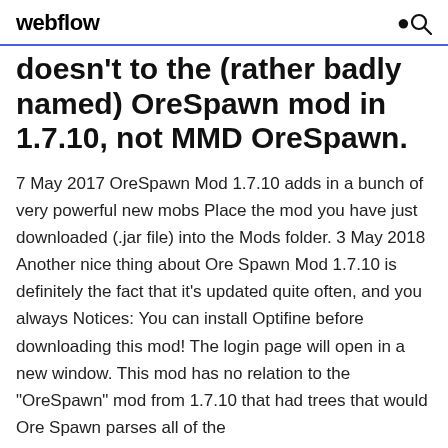webflow
doesn't to the (rather badly named) OreSpawn mod in 1.7.10, not MMD OreSpawn.
7 May 2017 OreSpawn Mod 1.7.10 adds in a bunch of very powerful new mobs Place the mod you have just downloaded (.jar file) into the Mods folder. 3 May 2018 Another nice thing about Ore Spawn Mod 1.7.10 is definitely the fact that it's updated quite often, and you always Notices: You can install Optifine before downloading this mod! The login page will open in a new window. This mod has no relation to the "OreSpawn" mod from 1.7.10 that had trees that would Ore Spawn parses all of the